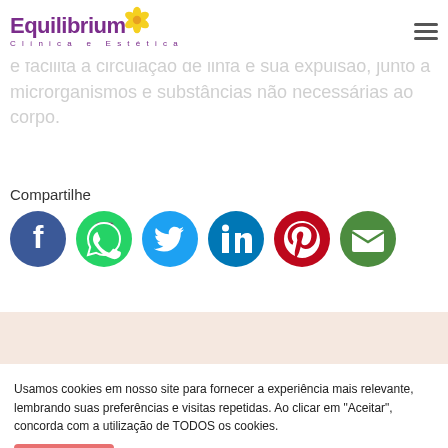[Figure (logo): Equilibrium Clínica e Estética logo with purple text and yellow flower]
A Drenagem linfática é uma técnica que auxilia, otimiza e facilita a circulação de linfa e sua expulsão, junto a microrganismos e substâncias não necessárias ao corpo.
Compartilhe
[Figure (infographic): Six social media sharing icons: Facebook (blue), WhatsApp (green), Twitter (light blue), LinkedIn (blue), Pinterest (red), Email (green)]
Usamos cookies em nosso site para fornecer a experiência mais relevante, lembrando suas preferências e visitas repetidas. Ao clicar em "Aceitar", concorda com a utilização de TODOS os cookies.
Entendi